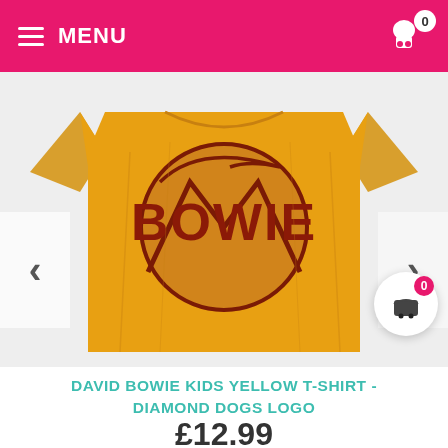MENU  0
[Figure (photo): Yellow children's t-shirt with David Bowie Diamond Dogs logo — a red circular logo with stylized 'BOWIE' lettering — displayed flat against a light grey background. Navigation arrows on left and right sides.]
DAVID BOWIE KIDS YELLOW T-SHIRT - DIAMOND DOGS LOGO
£12.99